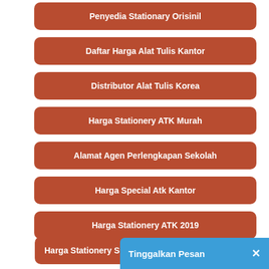Penyedia Stationary Orisinil
Daftar Harga Alat Tulis Kantor
Distributor Alat Tulis Korea
Harga Stationery ATK Murah
Alamat Agen Perlengkapan Sekolah
Harga Special Atk Kantor
Harga Stationery ATK 2019
Harga Stationery e-katalog
Harga Stationery S…
Tinggalkan Pesan ✕